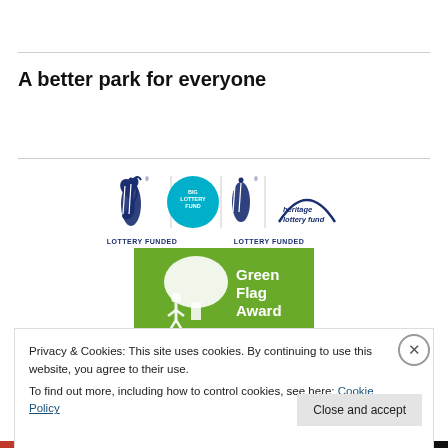A better park for everyone
[Figure (logo): Big Lottery Fund logo (crossed fingers with circle, LOTTERY FUNDED text) and Heritage Lottery Fund logo (crossed fingers with heritage lottery fund text, LOTTERY FUNDED text), side by side]
[Figure (logo): Green Flag Award logo — green rectangle with white tree and person silhouette, text: Green Flag Award]
Privacy & Cookies: This site uses cookies. By continuing to use this website, you agree to their use.
To find out more, including how to control cookies, see here: Cookie Policy